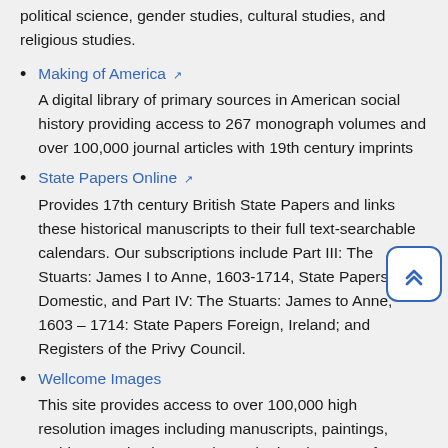political science, gender studies, cultural studies, and religious studies.
Making of America — A digital library of primary sources in American social history providing access to 267 monograph volumes and over 100,000 journal articles with 19th century imprints
State Papers Online — Provides 17th century British State Papers and links these historical manuscripts to their full text-searchable calendars. Our subscriptions include Part III: The Stuarts: James I to Anne, 1603-1714, State Papers Domestic, and Part IV: The Stuarts: James to Anne, 1603 – 1714: State Papers Foreign, Ireland; and Registers of the Privy Council.
Wellcome Images — This site provides access to over 100,000 high resolution images including manuscripts, paintings, etchings, early photography and advertisements from the historical holdings of the Wellcome Library in London. The images have